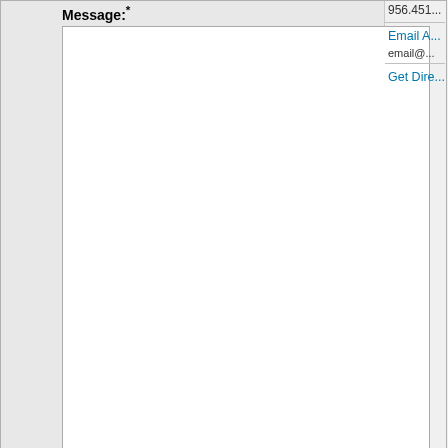Message:*
[Figure (screenshot): Empty white textarea input for message field with resize handle at bottom right]
CAPTCHA Code:*
[Figure (screenshot): Empty white CAPTCHA code text input box]
[Figure (screenshot): CAPTCHA Image placeholder with refresh icons]
[Figure (screenshot): Submit button]
Powered by Fast and Secure Contact Form
956.451...
Email A...
email@...
Get Dire...
Disclaimer: The sending of an email to the Almaguer Law Firm does not create, and the rece... relationship. This website presents general information about the Almaguer Law... should you consider it as such. Please be aware that anything you send to anyo... privileged or otherwise protected from disclosure unless we have formally agreed... has been successfully completed. Unless we have created an attorney-client rel...